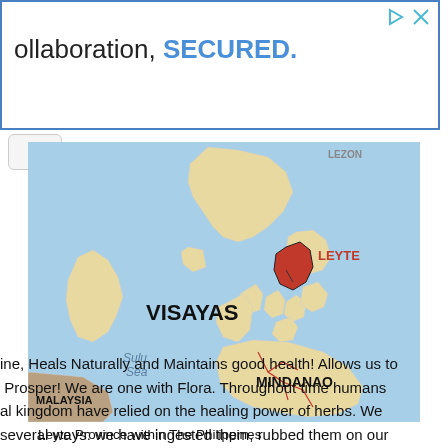[Figure (other): Advertisement banner with blue border. Text reads 'collaboration, SECURED.' with SECURED in blue. Top right has play and close icons.]
[Figure (map): Map of the Philippines showing Leyte Province highlighted in red within the Visayas region. Labels include LEYTE, VISAYAS, Sulu Sea, MINDANAO, MALAYSIA.]
Leyte Province within The Philippines
ine, Heals Naturally and Maintains good health! Allows us to Prosper! We are one with Flora. Throughout time humans al kingdom have relied on the healing power of herbs. We several ways: we have ingested them, rubbed them on our